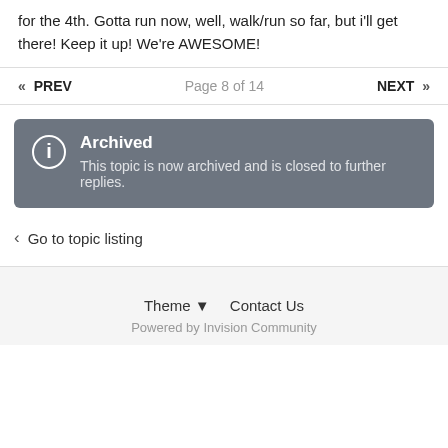for the 4th. Gotta run now, well, walk/run so far, but i'll get there! Keep it up! We're AWESOME!
« PREV   Page 8 of 14   NEXT »
Archived
This topic is now archived and is closed to further replies.
< Go to topic listing
Theme ▼  Contact Us
Powered by Invision Community